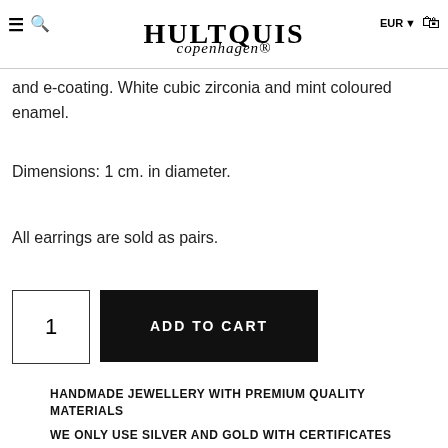HULTQUIS copenhagen® EUR 0
and e-coating. White cubic zirconia and mint coloured enamel.
Dimensions: 1 cm. in diameter.
All earrings are sold as pairs.
1
ADD TO CART
HANDMADE JEWELLERY WITH PREMIUM QUALITY MATERIALS
WE ONLY USE SILVER AND GOLD WITH CERTIFICATES
FREE SHIPPING FROM 299 DKK – 67 €